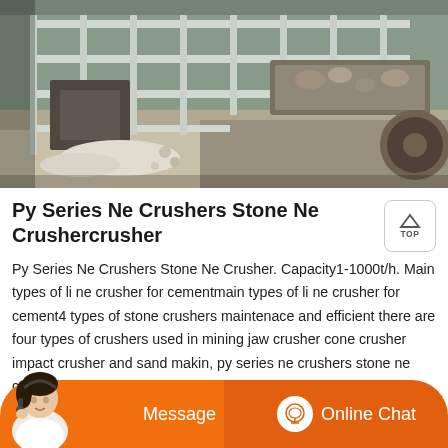[Figure (photo): Aerial/overhead view of an industrial stone crushing plant with metal grating frames, conveyor belts, and machinery with crushed aggregate material visible.]
Py Series Ne Crushers Stone Ne Crushercrusher
Py Series Ne Crushers Stone Ne Crusher. Capacity1-1000t/h. Main types of li ne crusher for cementmain types of li ne crusher for cement4 types of stone crushers maintenace and efficient there are four types of crushers used in mining jaw crusher cone crusher impact crusher and sand makin, py series ne crushers stone ne crusher email protected
[Figure (other): Orange chat bar at bottom with agent photo, Message button, and Online Chat button with headset icon.]